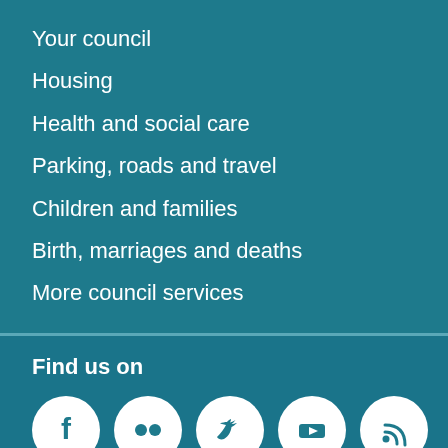Your council
Housing
Health and social care
Parking, roads and travel
Children and families
Birth, marriages and deaths
More council services
Find us on
[Figure (infographic): Five social media icons in white circles: Facebook, Flickr, Twitter, YouTube, RSS feed]
What are these?